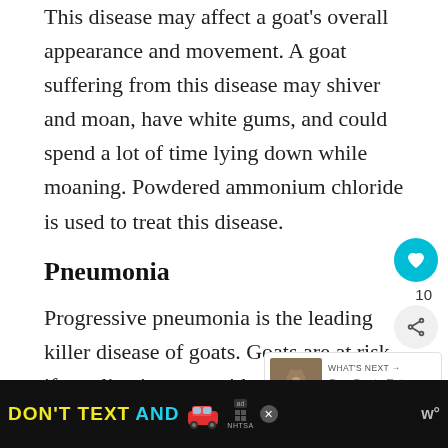This disease may affect a goat's overall appearance and movement. A goat suffering from this disease may shiver and moan, have white gums, and could spend a lot of time lying down while moaning. Powdered ammonium chloride is used to treat this disease.
Pneumonia
Progressive pneumonia is the leading killer disease of goats. Goats are at risk if you live in areas with varying temperatures as they are susceptible to the cold and wind.
[Figure (infographic): What's Next widget showing a thumbnail of a goat with text 'Can Goats Eat Plastic?' and social interaction buttons (heart/like button showing 10 likes, and a share button)]
[Figure (infographic): Advertisement banner with black background showing 'DON'T TEXT AND' in yellow and cyan letters with a red car emoji, NHTSA ad logo, and close button]